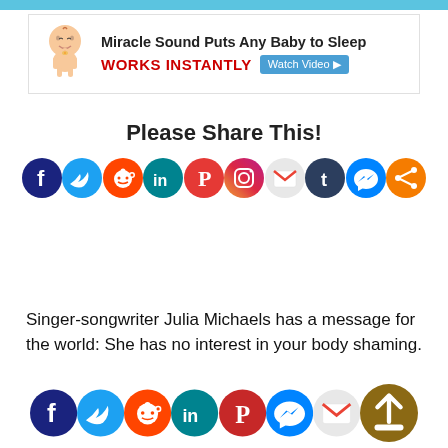[Figure (infographic): Advertisement banner: baby emoji illustration with text 'Miracle Sound Puts Any Baby to Sleep WORKS INSTANTLY' and 'Watch Video' button]
Please Share This!
[Figure (infographic): Row of 10 social media share icons: Facebook, Twitter, Reddit, LinkedIn, Pinterest, Instagram, Gmail, Tumblr, Messenger, Share]
Singer-songwriter Julia Michaels has a message for the world: She has no interest in your body shaming.
[Figure (infographic): Row of social media share icons at bottom of page: Facebook, Twitter, Reddit, LinkedIn, Pinterest, Messenger, Gmail, more]